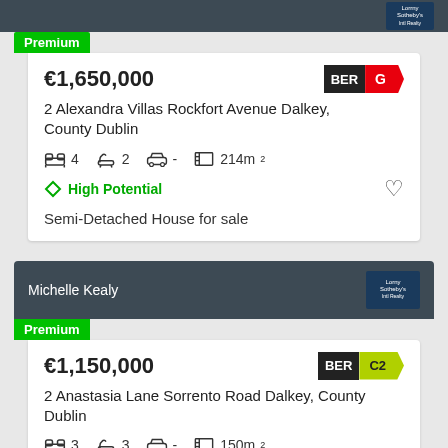Premium
€1,650,000 BER G
2 Alexandra Villas Rockfort Avenue Dalkey, County Dublin
4 bedrooms, 2 bathrooms, parking -, 214m²
High Potential
Semi-Detached House for sale
Michelle Kealy
Premium
€1,150,000 BER C2
2 Anastasia Lane Sorrento Road Dalkey, County Dublin
3 bedrooms, 3 bathrooms, parking -, 150m²